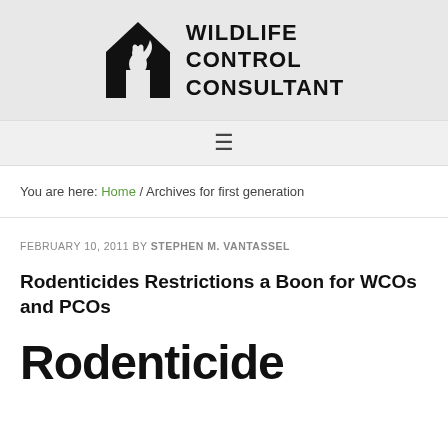[Figure (logo): Wildlife Control Consultant logo — black house silhouette icon with squirrel and registered trademark symbol, next to bold uppercase text WILDLIFE CONTROL CONSULTANT]
≡
You are here: Home / Archives for first generation
FEBRUARY 10, 2011 BY STEPHEN M. VANTASSEL
Rodenticides Restrictions a Boon for WCOs and PCOs
Rodenticide